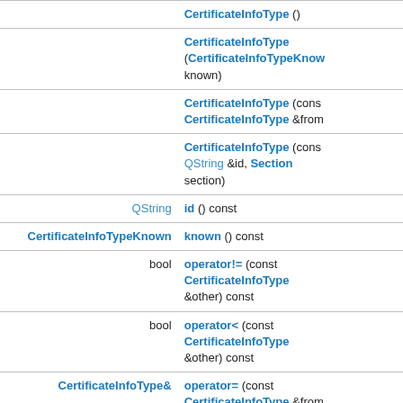| Return type | Method |
| --- | --- |
|  | CertificateInfoType () |
|  | CertificateInfoType (CertificateInfoTypeKnown known) |
|  | CertificateInfoType (const CertificateInfoType &from) |
|  | CertificateInfoType (const QString &id, Section section) |
| QString | id () const |
| CertificateInfoTypeKnown | known () const |
| bool | operator!= (const CertificateInfoType &other) const |
| bool | operator< (const CertificateInfoType &other) const |
| CertificateInfoType& | operator= (const CertificateInfoType &from) |
| bool | operator== (const |